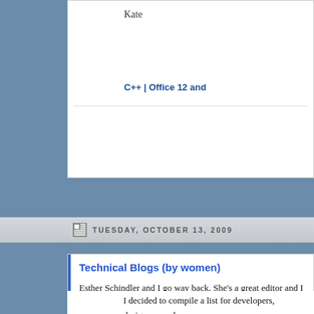Kate
C++ | Office 12 and
TUESDAY, OCTOBER 13, 2009
Technical Blogs (by women)
Esther Schindler and I go way back. She's a great editor and I Recently, she wrote:
I decided to compile a list for developers, designers, and o (mostly) women. I'm a strong believer in women being m apologize for our achievements. (That's one reason why Enumerating women-to-admire felt like a good way to high
I am delighted to see my friends on this list, and to be introduced Take a look and see if you can make a new friend, or at least a ne
Kate